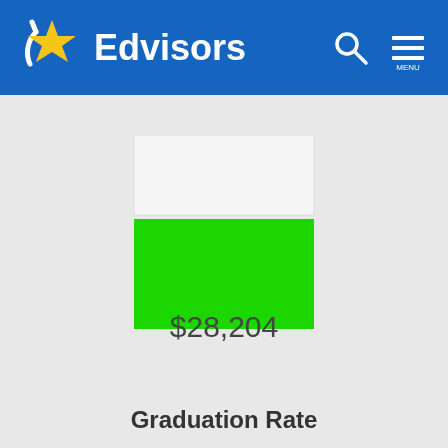Edvisors
[Figure (bar-chart): Cost bar chart]
$28,204
Graduation Rate